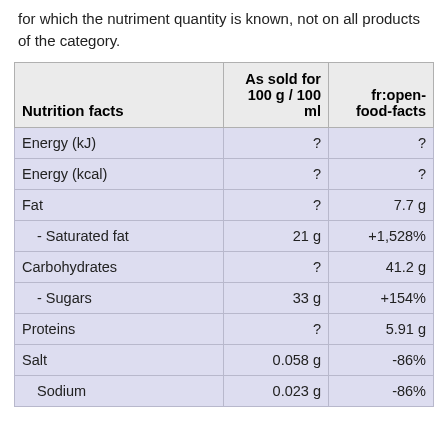for which the nutriment quantity is known, not on all products of the category.
| Nutrition facts | As sold for 100 g / 100 ml | fr:open-food-facts |
| --- | --- | --- |
| Energy (kJ) | ? | ? |
| Energy (kcal) | ? | ? |
| Fat | ? | 7.7 g |
| - Saturated fat | 21 g | +1,528% |
| Carbohydrates | ? | 41.2 g |
| - Sugars | 33 g | +154% |
| Proteins | ? | 5.91 g |
| Salt | 0.058 g | -86% |
| Sodium | 0.023 g | -86% |